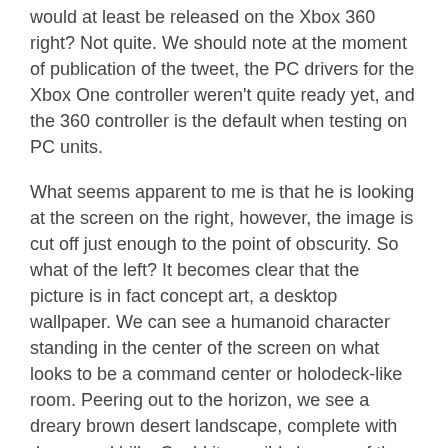would at least be released on the Xbox 360 right? Not quite. We should note at the moment of publication of the tweet, the PC drivers for the Xbox One controller weren't quite ready yet, and the 360 controller is the default when testing on PC units.
What seems apparent to me is that he is looking at the screen on the right, however, the image is cut off just enough to the point of obscurity. So what of the left? It becomes clear that the picture is in fact concept art, a desktop wallpaper. We can see a humanoid character standing in the center of the screen on what looks to be a command center or holodeck-like room. Peering out to the horizon, we see a dreary brown desert landscape, complete with dunes and hills. Could it possibly be one of the new planets we'll get to land on in the new game?
Second image The next tweet is a lot more exciting. Sent out by our good chap Yanick Roy, it shows a developer working on some interesting concepts. “…with new characters to fall in love with…”, it reads.
On the left, we see 4 drawings of what appear to some type of hand-cannon. This is quite the reveal. Previous games in the series all featured your standard assault rifles, shotguns, pistols, etc. What these drawings showcase are new types of offensive